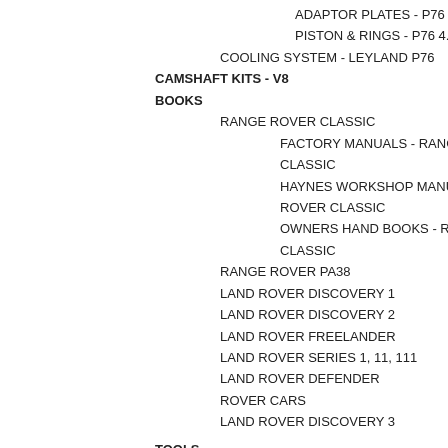ADAPTOR PLATES - P76 4.4
PISTON & RINGS - P76 4.4 V8
COOLING SYSTEM - LEYLAND P76
CAMSHAFT KITS - V8
BOOKS
RANGE ROVER CLASSIC
FACTORY MANUALS - RANGE CLASSIC
HAYNES WORKSHOP MANUAL - ROVER CLASSIC
OWNERS HAND BOOKS - RANGE CLASSIC
RANGE ROVER PA38
LAND ROVER DISCOVERY 1
LAND ROVER DISCOVERY 2
LAND ROVER FREELANDER
LAND ROVER SERIES 1, 11, 111
LAND ROVER DEFENDER
ROVER CARS
LAND ROVER DISCOVERY 3
TOOLS